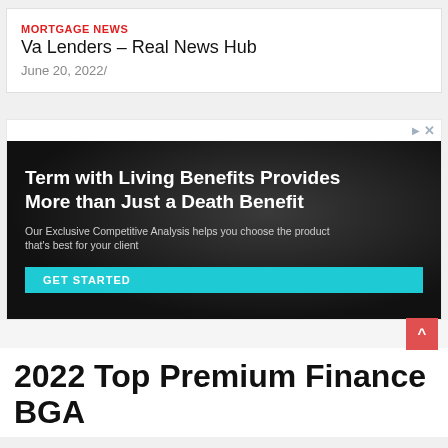MORTGAGE NEWS
Va Lenders – Real News Hub
June 20, 2022/
[Figure (photo): Dark advertisement banner showing a person with headphones. Text reads: 'Term with Living Benefits Provides More than Just a Death Benefit'. Subtext: 'Our Exclusive Competitive Analysis helps you choose the product that's best for your client'. Button: 'GET STARTED'.]
2022 Top Premium Finance BGA